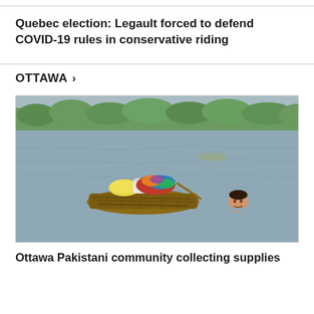Quebec election: Legault forced to defend COVID-19 rules in conservative riding
OTTAWA >
[Figure (photo): A man swimming in floodwater while pushing a makeshift raft made of branches and debris loaded with colorful belongings, with a treeline visible in the background.]
Ottawa Pakistani community collecting supplies